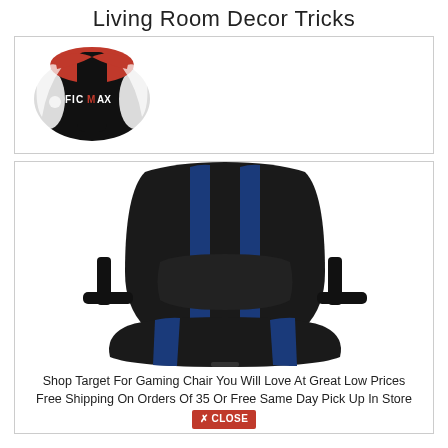Living Room Decor Tricks
[Figure (photo): Close-up of a black gaming chair headrest with red and white accents, FICMAX logo visible]
[Figure (photo): Black and blue gaming chair with adjustable armrests, viewed from a slightly elevated angle]
Shop Target For Gaming Chair You Will Love At Great Low Prices Free Shipping On Orders Of 35 Or Free Same Day Pick Up In Store